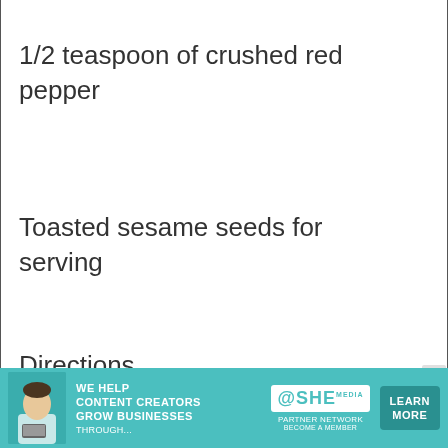1/2 teaspoon of crushed red pepper
Toasted sesame seeds for serving
Directions
Clean and halve baby bok choy,
[Figure (infographic): Advertisement banner for SHE Media Partner Network. Teal background with woman photo on left, text 'WE HELP CONTENT CREATORS GROW BUSINESSES THROUGH...' in white, SHE logo, and 'LEARN MORE' button on right.]